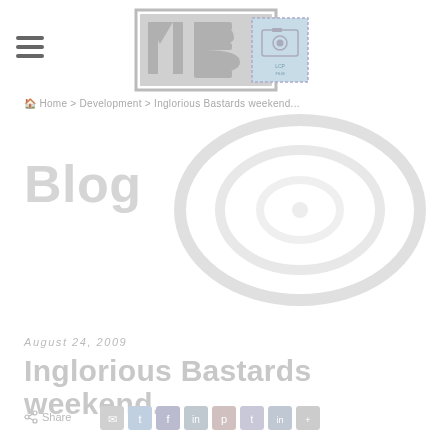[Figure (logo): MB logo with film camera stamp icon — grey block letters 'MB' with a postage stamp containing a camera/film equipment image]
≡ (hamburger menu icon)
Home > Development > Inglorious Bastards weekend...
Blog
[Figure (illustration): Concentric circles decoration — light grey rings forming a radio/wifi wave pattern]
August 24, 2009
Inglorious Bastards weekend...
Share
[Figure (illustration): Row of social media share icon buttons: email, Twitter, Facebook, LinkedIn, Pinterest, Tumblr, LinkedIn, another icon]